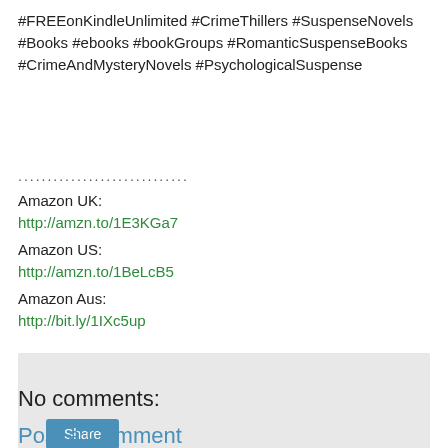#FREEonKindleUnlimited #CrimeThillers #SuspenseNovels #Books #ebooks #bookGroups #RomanticSuspenseBooks #CrimeAndMysteryNovels #PsychologicalSuspense
.............................
Amazon UK:
http://amzn.to/1E3KGa7
Amazon US:
http://amzn.to/1BeLcB5
Amazon Aus:
http://bit.ly/1IXc5up
[Figure (other): Share button UI element on a light gray background]
No comments:
Post a Comment